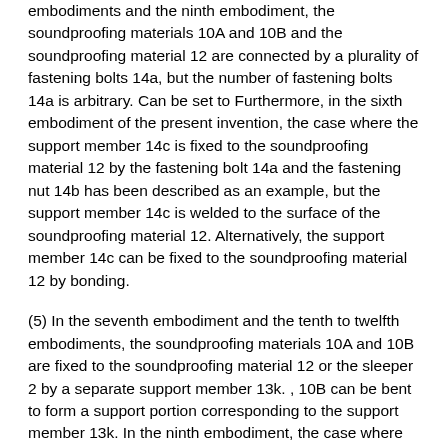embodiments and the ninth embodiment, the soundproofing materials 10A and 10B and the soundproofing material 12 are connected by a plurality of fastening bolts 14a, but the number of fastening bolts 14a is arbitrary. Can be set to Furthermore, in the sixth embodiment of the present invention, the case where the support member 14c is fixed to the soundproofing material 12 by the fastening bolt 14a and the fastening nut 14b has been described as an example, but the support member 14c is welded to the surface of the soundproofing material 12. Alternatively, the support member 14c can be fixed to the soundproofing material 12 by bonding.
(5) In the seventh embodiment and the tenth to twelfth embodiments, the soundproofing materials 10A and 10B are fixed to the soundproofing material 12 or the sleeper 2 by a separate support member 13k. , 10B can be bent to form a support portion corresponding to the support member 13k. In the ninth embodiment, the case where the double diffractive portion 10k is formed by bending approximately 90 degrees toward the rails 6A and 6B has been described as an example, but less than 90 degrees is formed on the rails 6A and 6B side ( For example, the